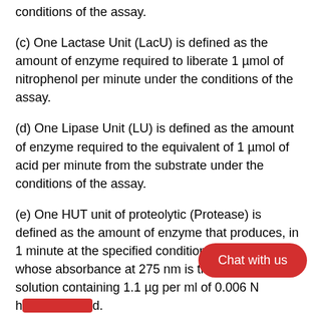…defined carboxymethylcellulose substrate under the conditions of the assay.
(c) One Lactase Unit (LacU) is defined as the amount of enzyme required to liberate 1 µmol of nitrophenol per minute under the conditions of the assay.
(d) One Lipase Unit (LU) is defined as the amount of enzyme required to the equivalent of 1 µmol of acid per minute from the substrate under the conditions of the assay.
(e) One HUT unit of proteolytic (Protease) is defined as the amount of enzyme that produces, in 1 minute at the specified conditions, a hydrolysate whose absorbance at 275 nm is the same as a solution containing 1.1 µg per ml of 0.006 N h[…]d.
Inactive Ingredients:
…